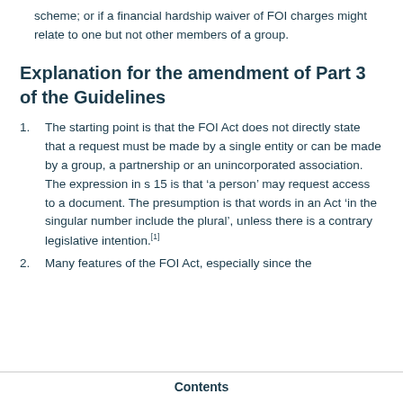scheme; or if a financial hardship waiver of FOI charges might relate to one but not other members of a group.
Explanation for the amendment of Part 3 of the Guidelines
The starting point is that the FOI Act does not directly state that a request must be made by a single entity or can be made by a group, a partnership or an unincorporated association. The expression in s 15 is that ‘a person’ may request access to a document. The presumption is that words in an Act ‘in the singular number include the plural’, unless there is a contrary legislative intention.[1]
Many features of the FOI Act, especially since the
Contents